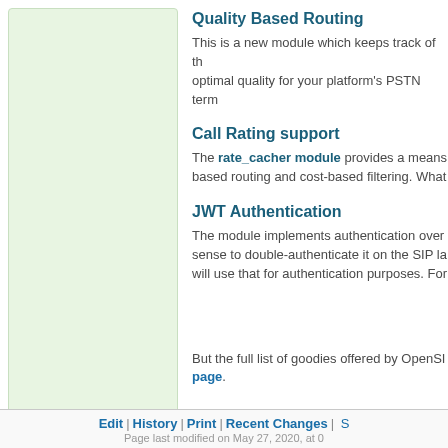[Figure (other): Left green panel / sidebar navigation area]
Quality Based Routing
This is a new module which keeps track of the optimal quality for your platform's PSTN term
Call Rating support
The rate_cacher module provides a means based routing and cost-based filtering. What
JWT Authentication
The module implements authentication over sense to double-authenticate it on the SIP la will use that for authentication purposes. For
But the full list of goodies offered by OpenSI page.
Edit | History | Print | Recent Changes | S
Page last modified on May 27, 2020, at 0